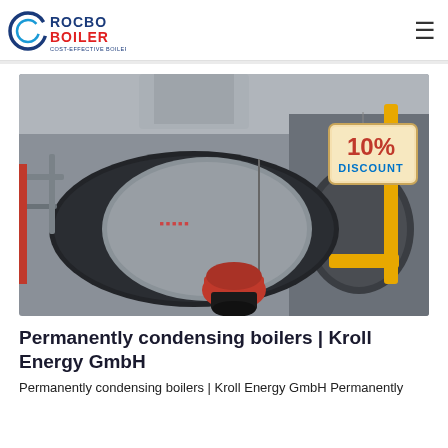ROCBO BOILER — COST-EFFECTIVE BOILER SUPPLIER
[Figure (photo): Industrial gas-fired fire tube boiler (dark cylindrical body with red burner) inside a factory, with yellow gas pipes on the right side and a '10% DISCOUNT' badge overlay in top-right corner]
Permanently condensing boilers | Kroll Energy GmbH
Permanently condensing boilers | Kroll Energy GmbH Permanently